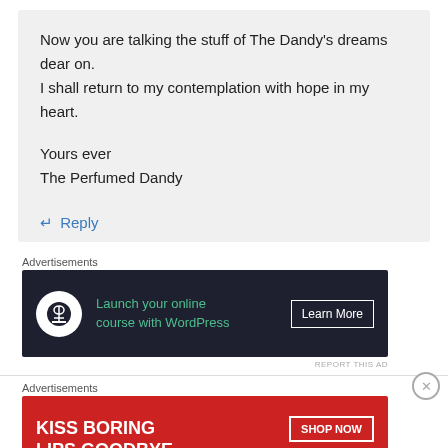Now you are talking the stuff of The Dandy’s dreams dear on.
I shall return to my contemplation with hope in my heart.

Yours ever
The Perfumed Dandy
↵ Reply
Advertisements
[Figure (screenshot): Dark banner ad: Launch your online course with WordPress. Learn More button.]
REPORT THIS AD
Advertisements
[Figure (screenshot): Red banner ad: KISS BORING LIPS GOODBYE. SHOP NOW. Macy's logo with star.]